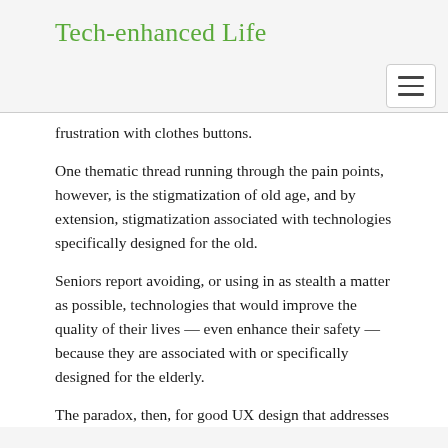Tech-enhanced Life
frustration with clothes buttons.
One thematic thread running through the pain points, however, is the stigmatization of old age, and by extension, stigmatization associated with technologies specifically designed for the old.
Seniors report avoiding, or using in as stealth a matter as possible, technologies that would improve the quality of their lives — even enhance their safety — because they are associated with or specifically designed for the elderly.
The paradox, then, for good UX design that addresses